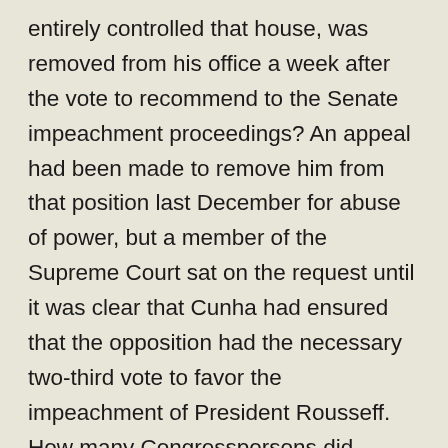entirely controlled that house, was removed from his office a week after the vote to recommend to the Senate impeachment proceedings? An appeal had been made to remove him from that position last December for abuse of power, but a member of the Supreme Court sat on the request until it was clear that Cunha had ensured that the opposition had the necessary two-third vote to favor the impeachment of President Rousseff. How many Congresspersons did Cunha and his allies buy or win over with promises to be in the new government? How can a process overseen by a person who had been indicted for money laundering and taking bribes be legitimate?